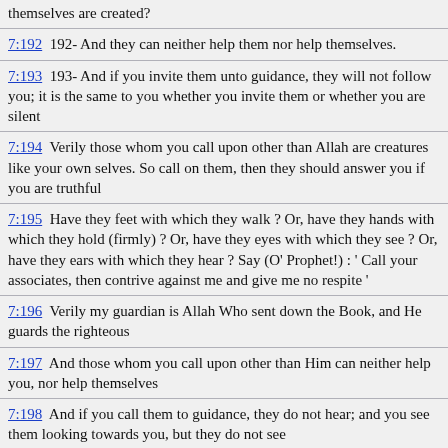themselves are created?
7:192  192- And they can neither help them nor help themselves.
7:193  193- And if you invite them unto guidance, they will not follow you; it is the same to you whether you invite them or whether you are silent
7:194  Verily those whom you call upon other than Allah are creatures like your own selves. So call on them, then they should answer you if you are truthful
7:195  Have they feet with which they walk ? Or, have they hands with which they hold (firmly) ? Or, have they eyes with which they see ? Or, have they ears with which they hear ? Say (O' Prophet!) : ' Call your associates, then contrive against me and give me no respite '
7:196  Verily my guardian is Allah Who sent down the Book, and He guards the righteous
7:197  And those whom you call upon other than Him can neither help you, nor help themselves
7:198  And if you call them to guidance, they do not hear; and you see them looking towards you, but they do not see
7:199  Keep to forgiveness and enjoin kindness, and turn away from the ignorant